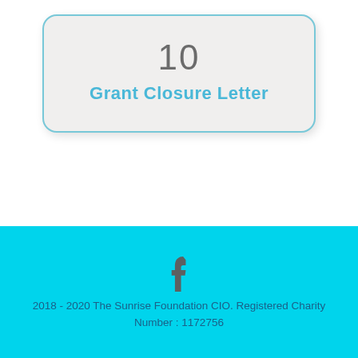10
Grant Closure Letter
2018 - 2020 The Sunrise Foundation CIO. Registered Charity
Number : 1172756